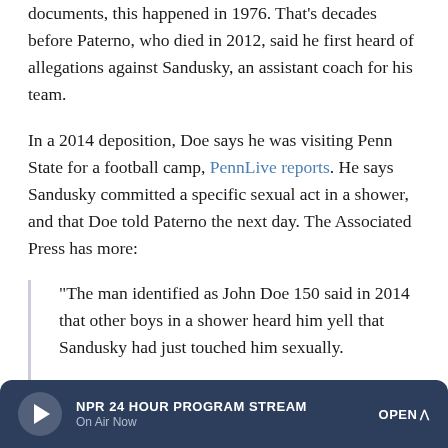documents, this happened in 1976. That's decades before Paterno, who died in 2012, said he first heard of allegations against Sandusky, an assistant coach for his team.
In a 2014 deposition, Doe says he was visiting Penn State for a football camp, PennLive reports. He says Sandusky committed a specific sexual act in a shower, and that Doe told Paterno the next day. The Associated Press has more:
"The man identified as John Doe 150 said in 2014 that other boys in a shower heard him yell that Sandusky had just touched him sexually.
"He said he told several adults about it, then sought out Paterno.
NPR 24 HOUR PROGRAM STREAM | On Air Now | OPEN